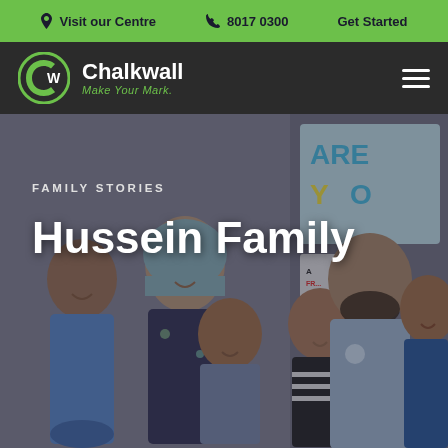Visit our Centre | 8017 0300 | Get Started
[Figure (logo): Chalkwall logo with circular CW emblem in green and white, text: Chalkwall, Make Your Mark.]
FAMILY STORIES
Hussein Family
[Figure (photo): A family of six posing together in front of a colorful wall with balloon decorations. The group includes two adults and four children. The mother wears a blue floral hijab. The father wears a light blue shirt. The children are of various ages.]